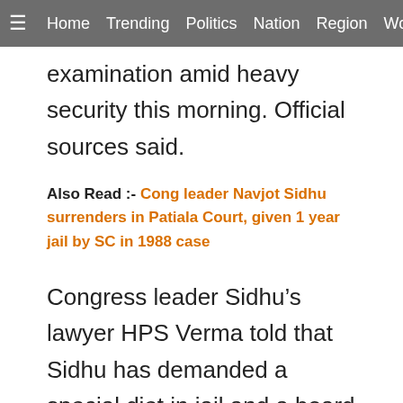≡  Home  Trending  Politics  Nation  Region  Worl
examination amid heavy security this morning. Official sources said.
Also Read :- Cong leader Navjot Sidhu surrenders in Patiala Court, given 1 year jail by SC in 1988 case
Congress leader Sidhu’s lawyer HPS Verma told that Sidhu has demanded a special diet in jail and a board of doctors will conduct a thorough health check-up of Sidhu at the hospital.
Mr Verma said over phone, “The doctors’